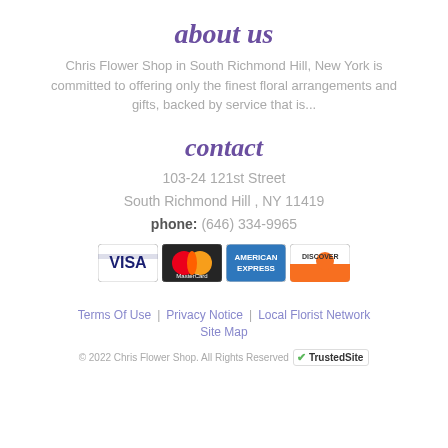about us
Chris Flower Shop in South Richmond Hill, New York is committed to offering only the finest floral arrangements and gifts, backed by service that is...
contact
103-24 121st Street
South Richmond Hill , NY 11419
phone: (646) 334-9965
[Figure (other): Payment method logos: Visa, MasterCard, American Express, Discover]
Terms Of Use  |  Privacy Notice  |  Local Florist Network
Site Map
© 2022 Chris Flower Shop. All Rights Reserved  TrustedSite